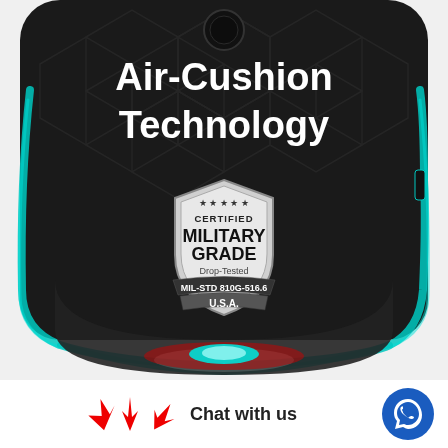[Figure (illustration): Product photo of a phone case corner showing dark textured back with hexagonal pattern, teal/cyan LED edge lighting, and a Certified Military Grade Drop-Tested MIL-STD 810G-516.6 U.S.A. shield badge. Text overlay reads 'Air-Cushion Technology'.]
Air-Cushion Technology
[Figure (logo): Certified Military Grade Drop-Tested MIL-STD 810G-516.6 U.S.A. shield badge in silver and black]
[Figure (illustration): Three red arrows pointing upward/outward indicating air cushion bounce, alongside WhatsApp chat icon and 'Chat with us' text]
Chat with us